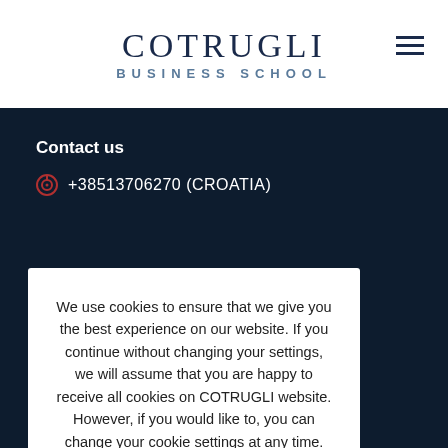COTRUGLI BUSINESS SCHOOL
Contact us
+38513706270 (CROATIA)
We use cookies to ensure that we give you the best experience on our website. If you continue without changing your settings, we will assume that you are happy to receive all cookies on COTRUGLI website. However, if you would like to, you can change your cookie settings at any time.
Cookie settings  ACCEPT